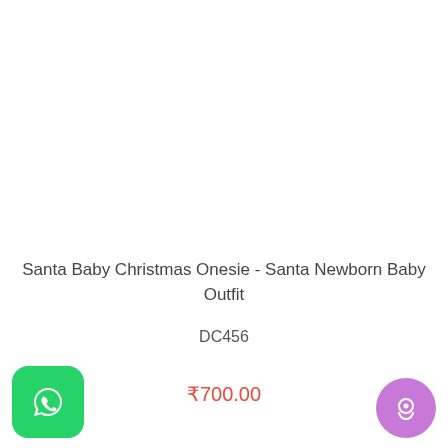Santa Baby Christmas Onesie - Santa Newborn Baby Outfit
DC456
₹700.00
[Figure (logo): WhatsApp green button icon at bottom left]
[Figure (logo): Purple chat/messaging button icon at bottom right]